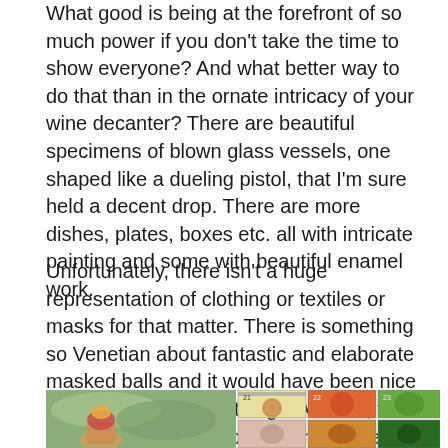What good is being at the forefront of so much power if you don't take the time to show everyone? And what better way to do that than in the ornate intricacy of your wine decanter? There are beautiful specimens of blown glass vessels, one shaped like a dueling pistol, that I'm sure held a decent drop. There are more dishes, plates, boxes etc. all with intricate painting and some with beautiful enamel work.
Unfortunately, there isn't a huge representation of clothing or textiles or masks for that matter. There is something so Venetian about fantastic and elaborate masked balls and it would have been nice to see more of those things. All in all, the exhibition does transport to one of the most ornate and grand times in the history of cities in the world. We just wish we could have stayed there longer.
[Figure (photo): Partial view of illustrated game cards or tarot-like cards showing colorful painted images including figures, animals, and floral motifs on a grid layout with numbers visible (21, 22, 23).]